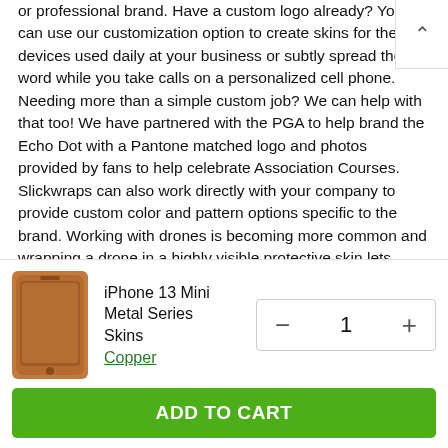or professional brand. Have a custom logo already? You can use our customization option to create skins for the devices used daily at your business or subtly spread the word while you take calls on a personalized cell phone. Needing more than a simple custom job? We can help with that too! We have partnered with the PGA to help brand the Echo Dot with a Pantone matched logo and photos provided by fans to help celebrate Association Courses. Slickwraps can also work directly with your company to provide custom color and pattern options specific to the brand. Working with drones is becoming more common and wrapping a drone in a highly visible protective skin lets everyone know who is on the job, partnering with Plymouth Rock Assurance we created multiple branded skins for different drones to ensure a uniform look. We also offer a B2B wrapping service for our skins, once the custom d has been approved devices can be mailed to our HQ we will hand wrap each device for you before it is ma.
[Figure (photo): iPhone 13 Mini product image with copper/brown metal skin]
iPhone 13 Mini Metal Series Skins
Copper
- 1 +
ADD TO CART